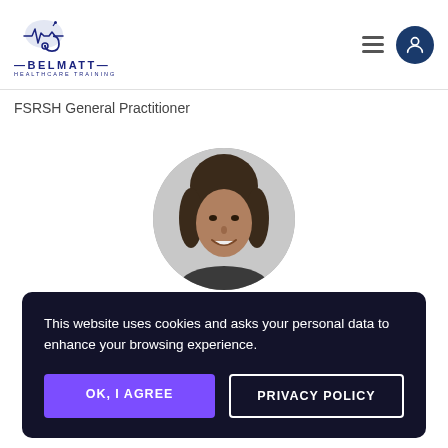[Figure (logo): Belmatt Healthcare Training logo with stethoscope and heartbeat line illustration]
FSRSH General Practitioner
[Figure (photo): Circular black and white profile photo of a smiling woman with long dark hair]
This website uses cookies and asks your personal data to enhance your browsing experience.
OK, I AGREE
PRIVACY POLICY